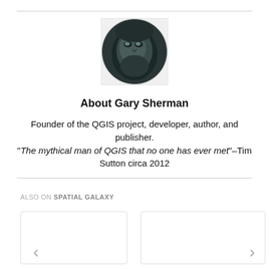[Figure (photo): Circular profile photo of Gary Sherman showing a detailed artistic/stylized face image with dark tones on white background]
About Gary Sherman
Founder of the QGIS project, developer, author, and publisher. "The mythical man of QGIS that no one has ever met"–Tim Sutton circa 2012
ALSO ON SPATIAL GALAXY